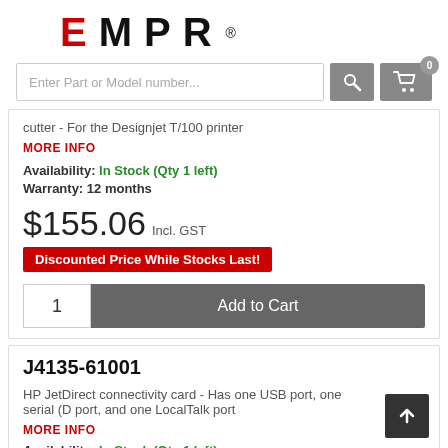[Figure (logo): EMPR logo with red E and black MPR letters plus registered trademark symbol]
[Figure (screenshot): Search bar with 'Enter Part or Model number...' placeholder, search button, and cart button with badge showing 0]
cutter - For the Designjet T/100 printer
MORE INFO
Availability: In Stock (Qty 1 left)
Warranty: 12 months
$155.06 Incl. GST
Discounted Price While Stocks Last!
1
Add to Cart
J4135-61001
HP JetDirect connectivity card - Has one USB port, one serial (D port, and one LocalTalk port
MORE INFO
Availability: In Stock (Qty 1 left)